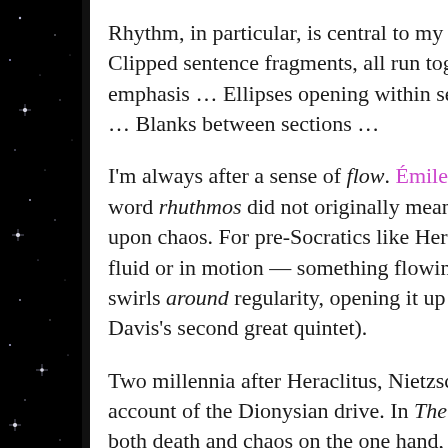Rhythm, in particular, is central to my work. There. Clipped sentence fragments, all run together, with emphasis … Ellipses opening within sentences, tra … Blanks between sections …
I'm always after a sense of flow. Émile Benveniste t word rhuthmos did not originally mean a pulsed be upon chaos. For pre-Socratics like Heraclitus, the w fluid or in motion — something flowing, improvise swirls around regularity, opening it up (think of dru Davis's second great quintet).
Two millennia after Heraclitus, Nietzsche revives th account of the Dionysian drive. In The Birth of Trag both death and chaos on the one hand, and eros a the other. It is both creative and destructive. The A is focused on the clarity of form, of beauty, throw